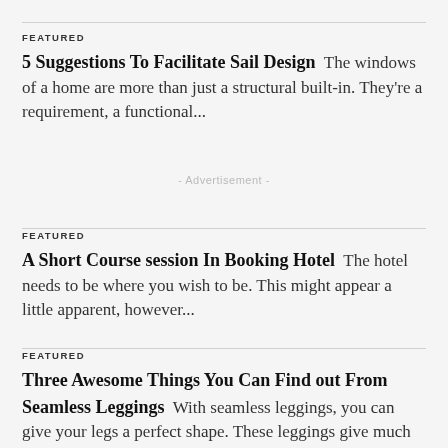FEATURED
5 Suggestions To Facilitate Sail Design  The windows of a home are more than just a structural built-in. They're a requirement, a functional...
- Advertisement -
FEATURED
A Short Course session In Booking Hotel  The hotel needs to be where you wish to be. This might appear a little apparent, however...
FEATURED
Three Awesome Things You Can Find out From Seamless Leggings  With seamless leggings, you can give your legs a perfect shape. These leggings give much better stomach...